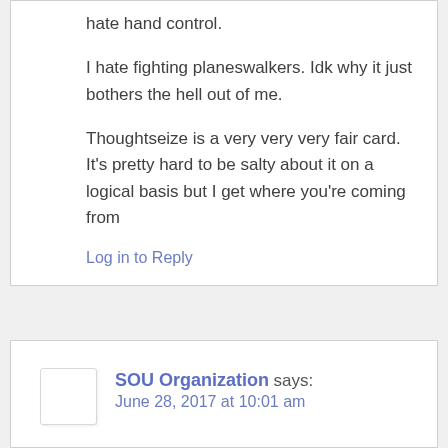hate hand control.
I hate fighting planeswalkers. Idk why it just bothers the hell out of me.
Thoughtseize is a very very very fair card. It’s pretty hard to be salty about it on a logical basis but I get where you’re coming from
Log in to Reply
SOU Organization says:
June 28, 2017 at 10:01 am